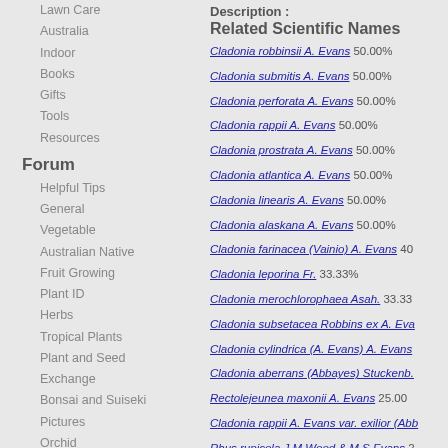Lawn Care
Australia
Indoor
Books
Gifts
Tools
Resources
Forum
Helpful Tips
General
Vegetable
Australian Native
Fruit Growing
Plant ID
Herbs
Tropical Plants
Plant and Seed
Exchange
Bonsai and Suiseki
Pictures
Orchid
Hydroponics
Water
News and Updates
Plants
Roses
Plant Propagation
Description :
Related Scientific Names
Cladonia robbinsii A. Evans 50.00%
Cladonia submitis A. Evans 50.00%
Cladonia perforata A. Evans 50.00%
Cladonia rappii A. Evans 50.00%
Cladonia prostrata A. Evans 50.00%
Cladonia atlantica A. Evans 50.00%
Cladonia linearis A. Evans 50.00%
Cladonia alaskana A. Evans 50.00%
Cladonia farinacea (Vainio) A. Evans 40
Cladonia leporina Fr. 33.33%
Cladonia merochlorophaea Asah. 33.33
Cladonia subsetacea Robbins ex A. Eva
Cladonia cylindrica (A. Evans) A. Evans
Cladonia aberrans (Abbayes) Stuckenb.
Rectolejeunea maxonii A. Evans 25.00
Cladonia rappii A. Evans var. exilior (Abb
Rhus rupicola J.M.Wood & M.S.Evans 2
Chlorophytum haygarthii J.M.Wood & M
Cladonia grayi G. Merr. ex Sandst. 16.6
Pecluma dispersa (A.M. Evans) M.G. Pr
Related English Names
skin lichen 50.00%
shell lichen 50.00%